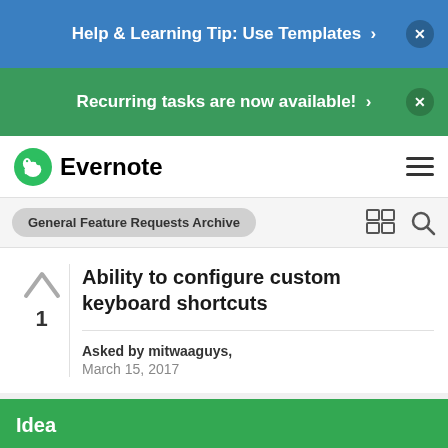Help & Learning Tip: Use Templates ›
Recurring tasks are now available! ›
[Figure (logo): Evernote logo with green elephant icon and bold text 'Evernote']
General Feature Requests Archive
Ability to configure custom keyboard shortcuts
Asked by mitwaaguys, March 15, 2017
Idea